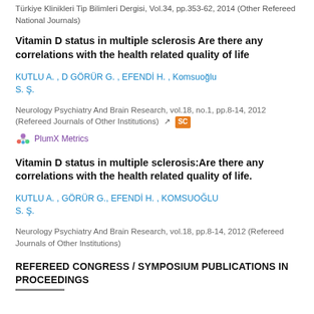Türkiye Klinikleri Tip Bilimleri Dergisi, Vol.34, pp.353-62, 2014 (Other Refereed National Journals)
Vitamin D status in multiple sclerosis Are there any correlations with the health related quality of life
KUTLU A. , D GÖRÜR G. , EFENDİ H. , Komsuoğlu S. Ş.
Neurology Psychiatry And Brain Research, vol.18, no.1, pp.8-14, 2012 (Refereed Journals of Other Institutions)
PlumX Metrics
Vitamin D status in multiple sclerosis:Are there any correlations with the health related quality of life.
KUTLU A. , GÖRÜR G., EFENDİ H. , KOMSUOĞLU S. Ş.
Neurology Psychiatry And Brain Research, vol.18, pp.8-14, 2012 (Refereed Journals of Other Institutions)
REFEREED CONGRESS / SYMPOSIUM PUBLICATIONS IN PROCEEDINGS